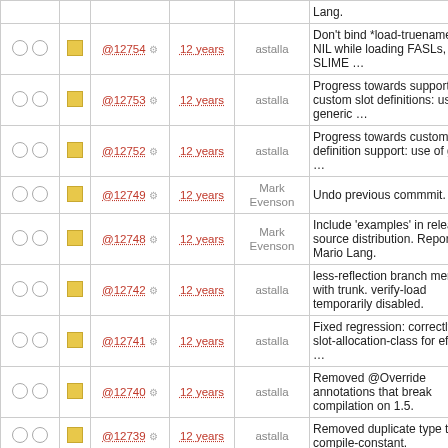|  |  | Rev | Age | Author | Message |
| --- | --- | --- | --- | --- | --- |
| ○ ○ | ■ | @12754 ⚙ | 12 years | astalla | Don't bind *load-truename* to NIL while loading FASLs, or SLIME … |
| ○ ○ | ■ | @12753 ⚙ | 12 years | astalla | Progress towards support for custom slot definitions: use of generic … |
| ○ ○ | ■ | @12752 ⚙ | 12 years | astalla | Progress towards custom slot definition support: use of generic … |
| ○ ○ | ■ | @12749 ⚙ | 12 years | Mark Evenson | Undo previous commmit. |
| ○ ○ | ■ | @12748 ⚙ | 12 years | Mark Evenson | Include 'examples' in release source distribution. Reported by Mario Lang. |
| ○ ○ | ■ | @12742 ⚙ | 12 years | astalla | less-reflection branch merged with trunk. verify-load temporarily disabled. |
| ○ ○ | ■ | @12741 ⚙ | 12 years | astalla | Fixed regression: correctly set slot-allocation-class for effective … |
| ○ ○ | ■ | @12740 ⚙ | 12 years | astalla | Removed @Override annotations that break compilation on 1.5. |
| ○ ○ | ■ | @12739 ⚙ | 12 years | astalla | Removed duplicate type tests in compile-constant. |
| ○ ○ | ■ | @12738 ⚙ | 12 years | astalla | Initial support for custom slot definition … |